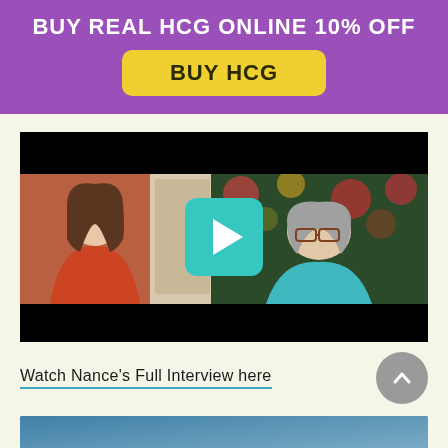BUY REAL HCG ONLINE 10% OFF
BUY HCG
[Figure (screenshot): Video thumbnail showing two women in a split-screen video call with a teal play button overlay in the center]
Watch Nance’s Full Interview here
[Figure (screenshot): Bottom portion of another video thumbnail visible at the bottom of the page]